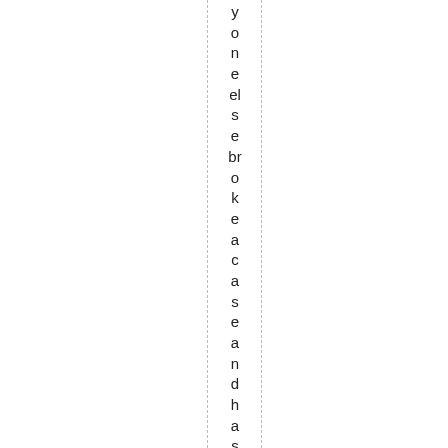yoneel sebrokeacaseandhassomedobl